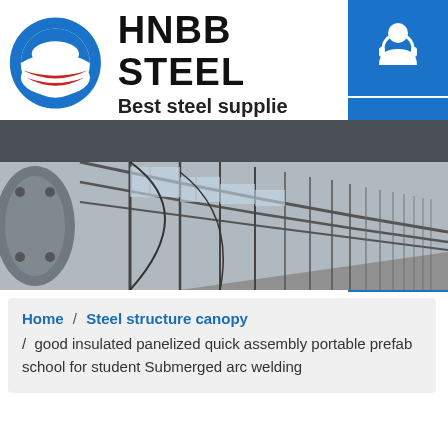[Figure (logo): HNBB Steel company logo with circular blue/red/white icon and company name text]
[Figure (photo): Steel structure building interior showing long corridor with arched steel frame and glass roof panels]
[Figure (infographic): Blue sidebar with three icons: headset/support, phone, and Skype logo]
Home / Steel structure canopy / good insulated panelized quick assembly portable prefab school for student Submerged arc welding